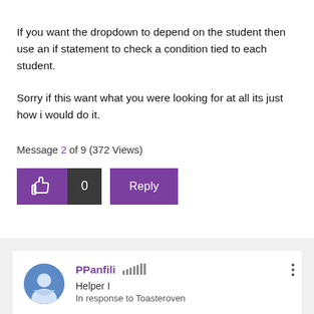If you want the dropdown to depend on the student then use an if statement to check a condition tied to each student.

Sorry if this want what you were looking for at all its just how i would do it.
Message 2 of 9  (372 Views)
[Figure (other): Action bar with thumbs-up like button (purple), like count showing 0 (dark), and Reply button (purple)]
PPanfili  Helper I  In response to Toasteroven